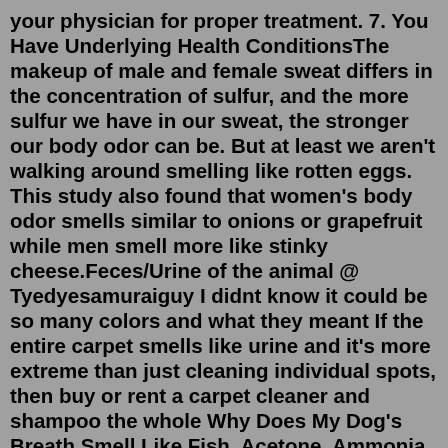your physician for proper treatment. 7. You Have Underlying Health ConditionsThe makeup of male and female sweat differs in the concentration of sulfur, and the more sulfur we have in our sweat, the stronger our body odor can be. But at least we aren't walking around smelling like rotten eggs. This study also found that women's body odor smells similar to onions or grapefruit while men smell more like stinky cheese.Feces/Urine of the animal @ Tyedyesamuraiguy I didnt know it could be so many colors and what they meant If the entire carpet smells like urine and it's more extreme than just cleaning individual spots, then buy or rent a carpet cleaner and shampoo the whole Why Does My Dog's Breath Smell Like Fish, Acetone, Ammonia Etc "A urine infection ...Sexually transmitted diseases may cause urethral or vaginal inflammation and a smelly discharge. Some like chlamydia and gonorrhea can cause an unpleasant smelling discharge. However, there are times where the discharge from lesions caused by the infection can cause specific de Th